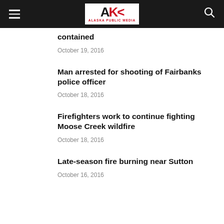Alaska Public Media
contained
October 19, 2016
Man arrested for shooting of Fairbanks police officer
October 18, 2016
Firefighters work to continue fighting Moose Creek wildfire
October 18, 2016
Late-season fire burning near Sutton
October 16, 2016